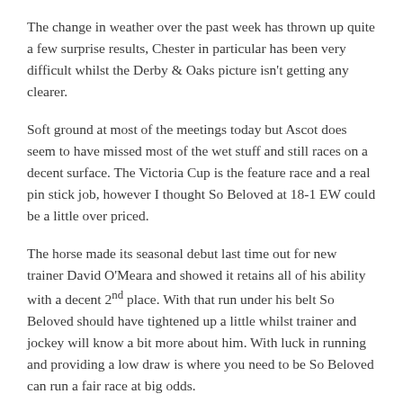The change in weather over the past week has thrown up quite a few surprise results, Chester in particular has been very difficult whilst the Derby & Oaks picture isn't getting any clearer.
Soft ground at most of the meetings today but Ascot does seem to have missed most of the wet stuff and still races on a decent surface. The Victoria Cup is the feature race and a real pin stick job, however I thought So Beloved at 18-1 EW could be a little over priced.
The horse made its seasonal debut last time out for new trainer David O'Meara and showed it retains all of his ability with a decent 2nd place. With that run under his belt So Beloved should have tightened up a little whilst trainer and jockey will know a bit more about him. With luck in running and providing a low draw is where you need to be So Beloved can run a fair race at big odds.
Over at Haydock there is a decent word around for Firmament in